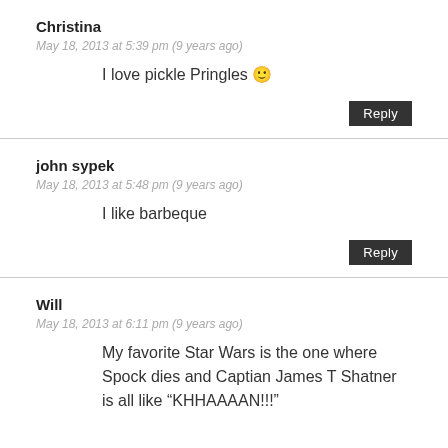Christina
May 18, 2013 at 5:39 pm (9 years ago)
I love pickle Pringles 🙂
Reply
john sypek
May 18, 2013 at 5:48 pm (9 years ago)
I like barbeque
Reply
Will
May 18, 2013 at 6:11 pm (9 years ago)
My favorite Star Wars is the one where Spock dies and Captian James T Shatner is all like “KHHAAAAN!!!”